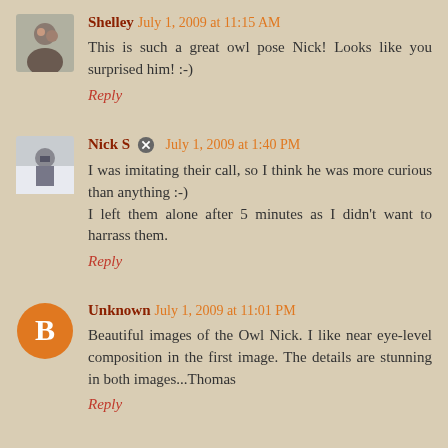[Figure (photo): Avatar photo of Shelley, showing a man and woman together]
Shelley July 1, 2009 at 11:15 AM
This is such a great owl pose Nick! Looks like you surprised him! :-)
Reply
[Figure (photo): Avatar photo of Nick S, showing a person in winter outdoors]
Nick S ✏ July 1, 2009 at 1:40 PM
I was imitating their call, so I think he was more curious than anything :-)
I left them alone after 5 minutes as I didn't want to harrass them.
Reply
[Figure (logo): Blogger B logo circle avatar for Unknown]
Unknown July 1, 2009 at 11:01 PM
Beautiful images of the Owl Nick. I like near eye-level composition in the first image. The details are stunning in both images...Thomas
Reply